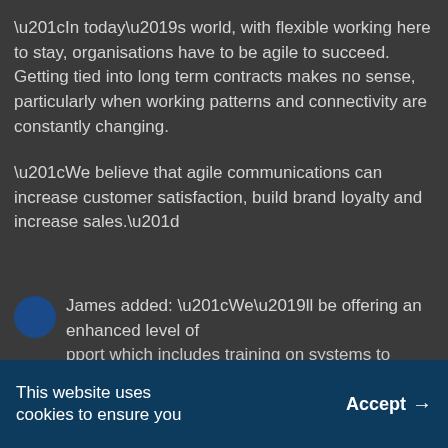“In today’s world, with flexible working here to stay, organisations have to be agile to succeed. Getting tied into long term contracts makes no sense, particularly when working patterns and connectivity are constantly changing.
“We believe that agile communications can increase customer satisfaction, build brand loyalty and increase sales.”
James added: “We’ll be offering an enhanced level of support which includes training on systems to
This website uses cookies to ensure you
Accept →